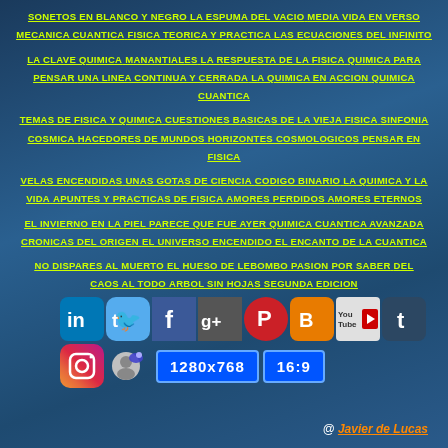SONETOS EN BLANCO Y NEGRO  LA ESPUMA DEL VACIO  MEDIA VIDA EN VERSO  MECANICA CUANTICA  FISICA TEORICA Y PRACTICA  LAS ECUACIONES DEL INFINITO
LA CLAVE QUIMICA  MANANTIALES  LA RESPUESTA DE LA FISICA  QUIMICA PARA PENSAR  UNA LINEA CONTINUA Y CERRADA  LA QUIMICA EN ACCION  QUIMICA CUANTICA
TEMAS DE FISICA Y QUIMICA  CUESTIONES BASICAS DE LA VIEJA FISICA  SINFONIA COSMICA  HACEDORES DE MUNDOS  HORIZONTES COSMOLOGICOS  PENSAR EN FISICA
VELAS ENCENDIDAS  UNAS GOTAS DE CIENCIA  CODIGO BINARIO  LA QUIMICA Y LA VIDA  APUNTES Y PRACTICAS DE FISICA  AMORES PERDIDOS AMORES ETERNOS
EL INVIERNO EN LA PIEL  PARECE QUE FUE AYER  QUIMICA CUANTICA AVANZADA  CRONICAS DEL ORIGEN  EL UNIVERSO ENCENDIDO  EL ENCANTO DE LA CUANTICA
NO DISPARES AL MUERTO  EL HUESO DE LEBOMBO  PASION POR SABER  DEL CAOS AL TODO  ARBOL SIN HOJAS SEGUNDA EDICION
[Figure (infographic): Social media icons: LinkedIn, Twitter, Facebook, Google+, Pinterest, Blogger, YouTube, Tumblr, Instagram, User avatar, resolution boxes 1280x768 and 16:9]
@ Javier de Lucas